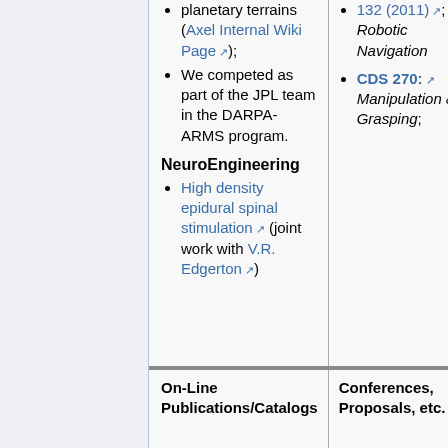planetary terrains (Axel Internal Wiki Page); We competed as part of the JPL team in the DARPA-ARMS program.
NeuroEngineering
High density epidural spinal stimulation (joint work with V.R. Edgerton)
132 (2011); Robotic Navigation
CDS 270: Manipulation & Grasping;
On-Line Publications/Catalogs
Conferences, Proposals, etc.